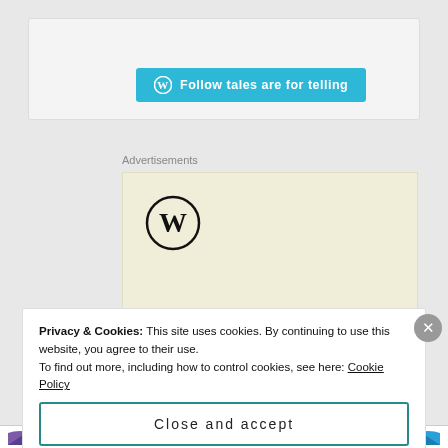[Figure (screenshot): WordPress follow button: blue rounded button with WP logo and text 'Follow tales are for telling']
Advertisements
[Figure (logo): WordPress logo (W in circle) on pale yellow advertisement background with text 'Professionally' partially visible]
Privacy & Cookies: This site uses cookies. By continuing to use this website, you agree to their use.
To find out more, including how to control cookies, see here: Cookie Policy
Close and accept